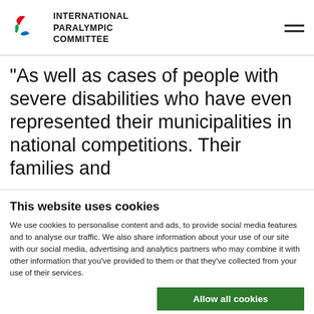INTERNATIONAL PARALYMPIC COMMITTEE
"As well as cases of people with severe disabilities who have even represented their municipalities in national competitions. Their families and
This website uses cookies
We use cookies to personalise content and ads, to provide social media features and to analyse our traffic. We also share information about your use of our site with our social media, advertising and analytics partners who may combine it with other information that you've provided to them or that they've collected from your use of their services.
Allow all cookies
Allow selection
Use necessary cookie
a and the United Kingdom added: "We are very proud of the
Necessary  Preferences  Statistics  Show details